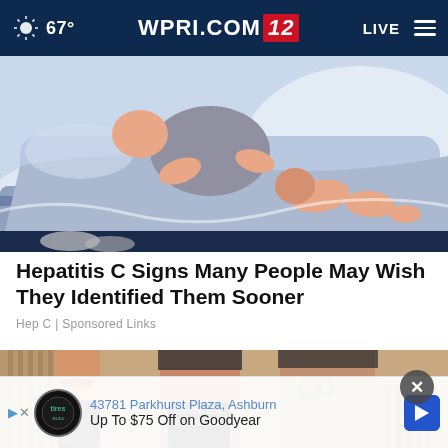67° WPRI.COM/2 LIVE
[Figure (illustration): Illustration of a sick person lying in bed, partially covered with a blanket, light blue/purple color palette]
Hepatitis C Signs Many People May Wish They Identified Them Sooner
Hep C | Sponsored Links
[Figure (photo): Photo of people's lower legs and feet wearing sandals/shoes, fashion/footwear context]
43781 Parkhurst Plaza, Ashburn
Up To $75 Off on Goodyear